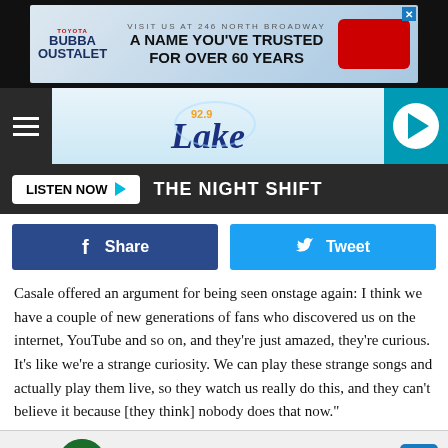[Figure (screenshot): Toyota Bubba Oustalet car dealership advertisement banner: 'VISIT US AT 246 NORTH BROADWAY - A NAME YOU'VE TRUSTED FOR OVER 60 YEARS']
[Figure (logo): 92.9 Lake FM radio station logo in header with teal play button]
LISTEN NOW ▶  THE NIGHT SHIFT
Share  Tweet
Casale offered an argument for being seen onstage again: I think we have a couple of new generations of fans who discovered us on the internet, YouTube and so on, and they're just amazed, they're curious. It's like we're a strange curiosity. We can play these strange songs and actually play them live, so they watch us really do this, and they can't believe it because [they think] nobody does that now."
[Figure (screenshot): DiscountTire/TireAuto advertisement: Save Up To $75 on New Tires - Virginia Tire & Auto of Ashburn]
TOP